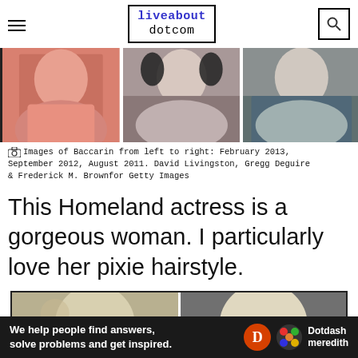liveabout dotcom
[Figure (photo): Three side-by-side photos of Morena Baccarin from February 2013, September 2012, and August 2011]
Images of Baccarin from left to right: February 2013, September 2012, August 2011. David Livingston, Gregg Deguire & Frederick M. Brownfor Getty Images
This Homeland actress is a gorgeous woman. I particularly love her pixie hairstyle.
[Figure (photo): Two side-by-side photos of blonde women]